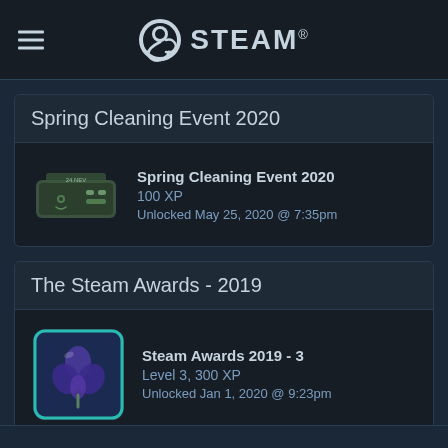STEAM
Spring Cleaning Event 2020
Spring Cleaning Event 2020
100 XP
Unlocked May 25, 2020 @ 7:35pm
The Steam Awards - 2019
Steam Awards 2019 - 3
Level 3, 300 XP
Unlocked Jan 1, 2020 @ 9:23pm